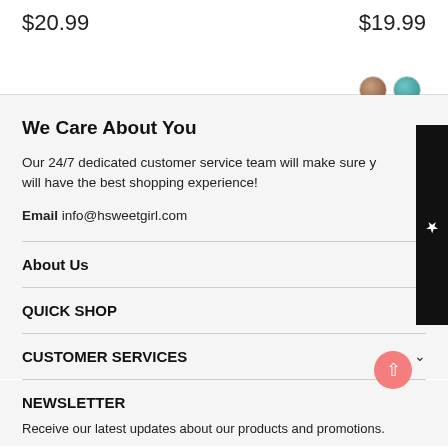$20.99
$19.99
[Figure (illustration): Two color swatches: brown/nude and teal circle buttons]
We Care About You
Our 24/7 dedicated customer service team will make sure you will have the best shopping experience!
Email info@hsweetgirl.com
About Us
QUICK SHOP
CUSTOMER SERVICES
NEWSLETTER
Receive our latest updates about our products and promotions.